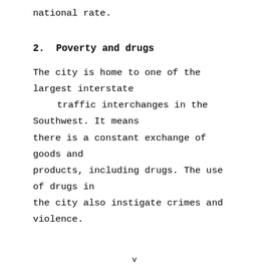national rate.
2.  Poverty and drugs
The city is home to one of the largest interstate traffic interchanges in the Southwest. It means there is a constant exchange of goods and products, including drugs. The use of drugs in the city also instigate crimes and violence.
v